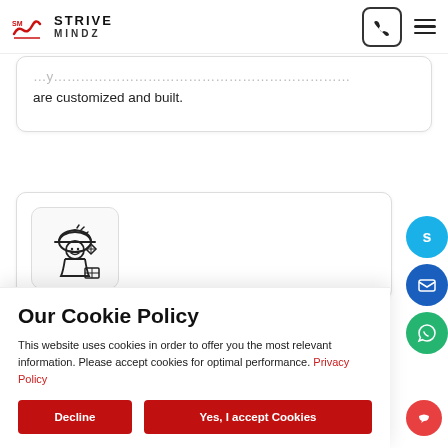Strive Mindz - navigation bar with logo, phone button, and hamburger menu
are customized and built.
[Figure (illustration): Worker/engineer icon with helmet, diamond and box, line art style inside a rounded card]
Our Cookie Policy
This website uses cookies in order to offer you the most relevant information. Please accept cookies for optimal performance. Privacy Policy
Decline
Yes, I accept Cookies